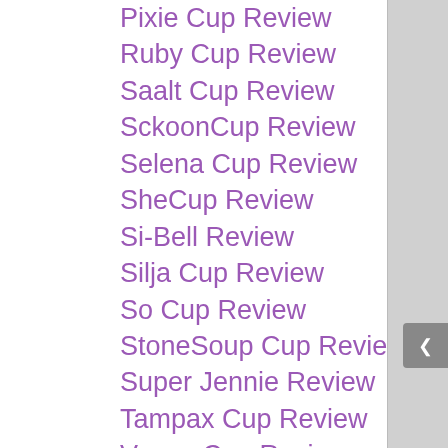Pixie Cup Review
Ruby Cup Review
Saalt Cup Review
SckoonCup Review
Selena Cup Review
SheCup Review
Si-Bell Review
Silja Cup Review
So Cup Review
StoneSoup Cup Review
Super Jennie Review
Tampax Cup Review
Venus Cup Review
Voxapod Cup Review
XO Flo Review
Yuuki Review